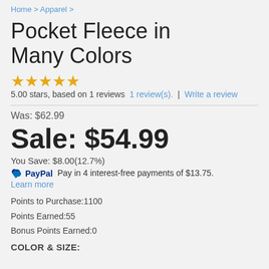Home > Apparel >
Pocket Fleece in Many Colors
5.00 stars, based on 1 reviews  1 review(s).  |  Write a review
Was: $62.99
Sale: $54.99
You Save: $8.00(12.7%)
PayPal  Pay in 4 interest-free payments of $13.75.  Learn more
Points to Purchase:1100
Points Earned:55
Bonus Points Earned:0
COLOR & SIZE: